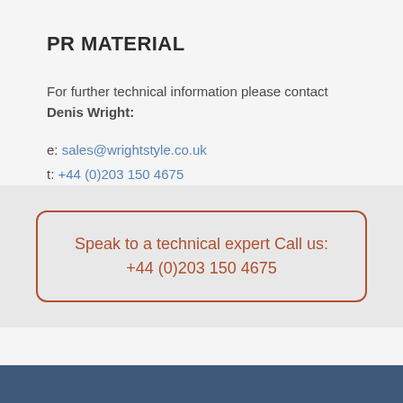PR MATERIAL
For further technical information please contact Denis Wright:
e: sales@wrightstyle.co.uk
t: +44 (0)203 150 4675
Speak to a technical expert Call us: +44 (0)203 150 4675